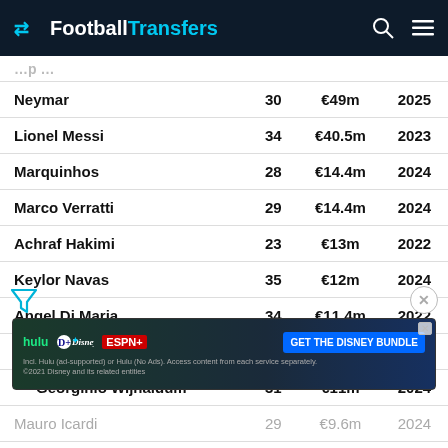FootballTransfers
| Player | Age | Salary | Contract |
| --- | --- | --- | --- |
| Neymar | 30 | €49m | 2025 |
| Lionel Messi | 34 | €40.5m | 2023 |
| Marquinhos | 28 | €14.4m | 2024 |
| Marco Verratti | 29 | €14.4m | 2024 |
| Achraf Hakimi | 23 | €13m | 2022 |
| Keylor Navas | 35 | €12m | 2024 |
| Angel Di Maria | 34 | €11.4m | 2022 |
| Gianluigi Donnarumma | 23 | €11m | 2026 |
| Georginio Wijnaldum | 31 | €11m | 2024 |
| Mauro Icardi | 29 | €9.6m | 2024 |
| Sergio R… |  |  |  |
| Leandro Paredes | 27 | €9m | 2023 |
[Figure (screenshot): Disney Bundle advertisement banner with Hulu, Disney+, ESPN+ logos and GET THE DISNEY BUNDLE call to action]